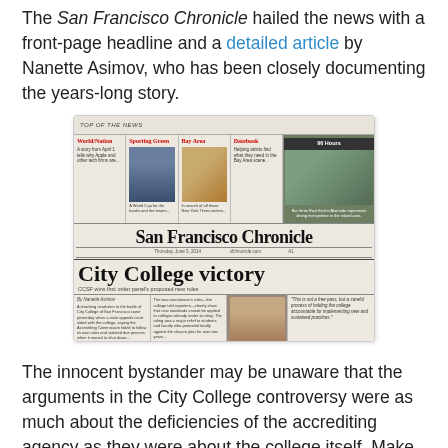The San Francisco Chronicle hailed the news with a front-page headline and a detailed article by Nanette Asimov, who has been closely documenting the years-long story.
[Figure (photo): A photograph of the San Francisco Chronicle front page featuring the headline 'City College victory' and sections including World/Nation, Sporting Green, Bay Area, Datebook, Business, and a large front-page photo.]
The innocent bystander may be unaware that the arguments in the City College controversy were as much about the deficiencies of the accrediting agency as they were about the college itself. Make no mistake: City College had plenty to answer for. The ACCJC found that City College was deficient in its planning, accounting, and management processes. The institution's teaching mission was threatened by its inability